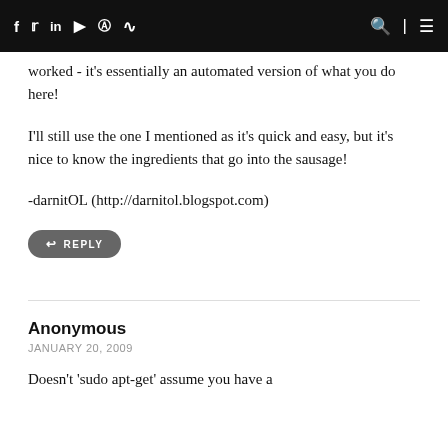Navigation bar with social icons (Facebook, Twitter, LinkedIn, YouTube, Instagram, RSS) and search/menu icons
worked - it's essentially an automated version of what you do here!

I'll still use the one I mentioned as it's quick and easy, but it's nice to know the ingredients that go into the sausage!

-darnitOL (http://darnitol.blogspot.com)
REPLY
Anonymous
JANUARY 20, 2009
Doesn't 'sudo apt-get' assume you have a